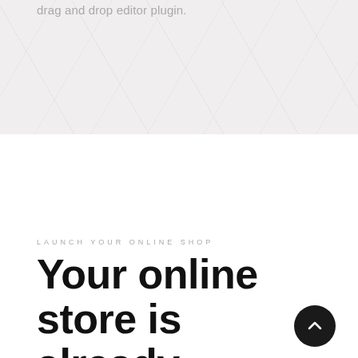drag and drop editor plugin.
[Figure (photo): Light marble or grey textured background section]
LAUNCH YOUR ONLINE SHOP
Your online store is already waiting for you!
[Figure (other): Dark circular scroll-up button with upward chevron arrow]